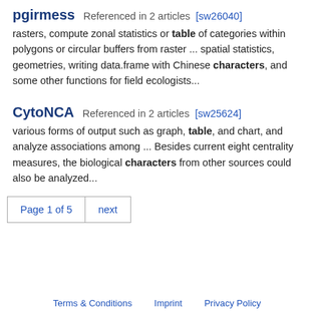pgirmess  Referenced in 2 articles [sw26040]
rasters, compute zonal statistics or table of categories within polygons or circular buffers from raster ... spatial statistics, geometries, writing data.frame with Chinese characters, and some other functions for field ecologists...
CytoNCA  Referenced in 2 articles [sw25624]
various forms of output such as graph, table, and chart, and analyze associations among ... Besides current eight centrality measures, the biological characters from other sources could also be analyzed...
Page 1 of 5  next
Terms & Conditions   Imprint   Privacy Policy